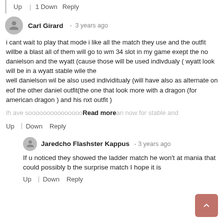Up | 1 Down   Reply
Carl Girard  -  3 years ago
i cant wait to play that mode i like all the match they use and the outfit willbe a blast all of them will go to wm 34 slot in my game exept the no danielson and the wyatt (cause those will be used indivdualy ( wyatt look will be in a wyatt stable wile the
well danielson wil be also used individitualy (will have also as alternate on eof the other daniel outfit(the one that look more with a dragon (for american dragon ) and his nxt outfit )
lh ave sooooooooooooooo...Read more...an now for stable and
Up   Down   Reply
Jaredcho Flashster Kappus  -  3 years ago
If u noticed they showed the ladder match he won't at mania that could possibly b the surprise match I hope it is
Up   Down   Reply